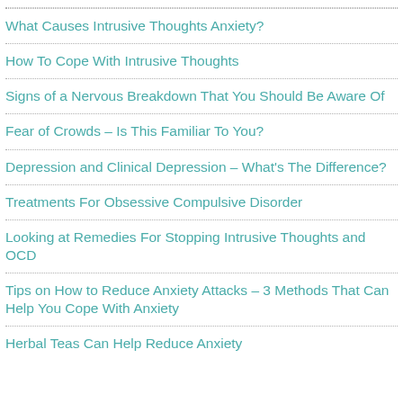What Causes Intrusive Thoughts Anxiety?
How To Cope With Intrusive Thoughts
Signs of a Nervous Breakdown That You Should Be Aware Of
Fear of Crowds – Is This Familiar To You?
Depression and Clinical Depression – What's The Difference?
Treatments For Obsessive Compulsive Disorder
Looking at Remedies For Stopping Intrusive Thoughts and OCD
Tips on How to Reduce Anxiety Attacks – 3 Methods That Can Help You Cope With Anxiety
Herbal Teas Can Help Reduce Anxiety